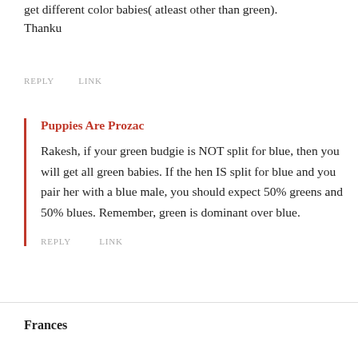get different color babies( atleast other than green).
Thanku
REPLY    LINK
Puppies Are Prozac
Rakesh, if your green budgie is NOT split for blue, then you will get all green babies. If the hen IS split for blue and you pair her with a blue male, you should expect 50% greens and 50% blues. Remember, green is dominant over blue.
REPLY    LINK
Frances